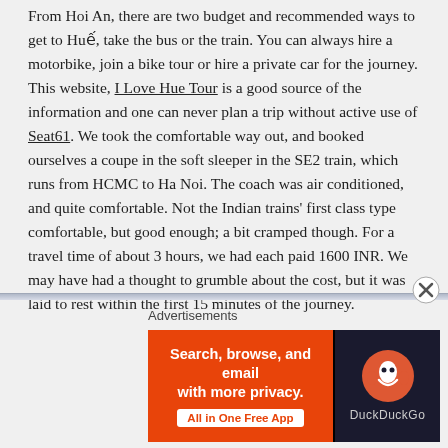From Hoi An, there are two budget and recommended ways to get to Huế, take the bus or the train. You can always hire a motorbike, join a bike tour or hire a private car for the journey. This website, I Love Hue Tour is a good source of the information and one can never plan a trip without active use of Seat61. We took the comfortable way out, and booked ourselves a coupe in the soft sleeper in the SE2 train, which runs from HCMC to Ha Noi. The coach was air conditioned, and quite comfortable. Not the Indian trains' first class type comfortable, but good enough; a bit cramped though. For a travel time of about 3 hours, we had each paid 1600 INR. We may have had a thought to grumble about the cost, but it was laid to rest within the first 15 minutes of the journey.
Advertisements
[Figure (other): DuckDuckGo advertisement banner: 'Search, browse, and email with more privacy. All in One Free App' with DuckDuckGo logo on dark background]